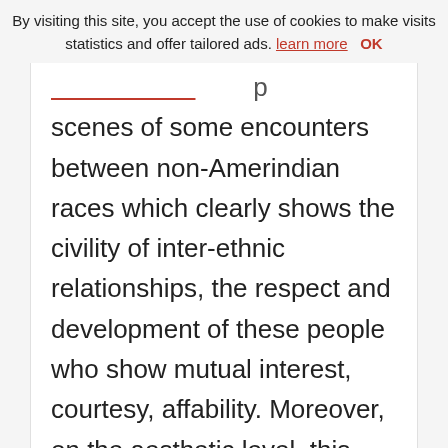By visiting this site, you accept the use of cookies to make visits statistics and offer tailored ads. learn more OK
scenes of some encounters between non-Amerindian races which clearly shows the civility of inter-ethnic relationships, the respect and development of these people who show mutual interest, courtesy, affability. Moreover, on the aesthetic level, this impressive statuary reflects the vast and varied artistic genius of its sculptors.
Their interior elevation is quite